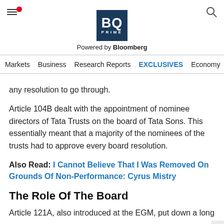BQ PRIME — Powered by Bloomberg
Markets | Business | Research Reports | EXCLUSIVES | Economy
any resolution to go through.
Article 104B dealt with the appointment of nominee directors of Tata Trusts on the board of Tata Sons. This essentially meant that a majority of the nominees of the trusts had to approve every board resolution.
Also Read: I Cannot Believe That I Was Removed On Grounds Of Non-Performance: Cyrus Mistry
The Role Of The Board
Article 121A, also introduced at the EGM, put down a long